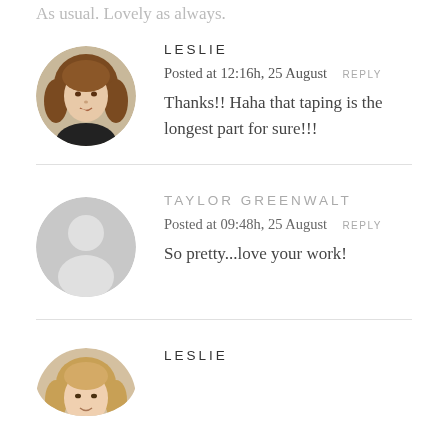As usual. Lovely as always.
[Figure (photo): Circular avatar photo of a woman with brown hair resting her chin on her hand]
LESLIE
Posted at 12:16h, 25 August  REPLY
Thanks!! Haha that taping is the longest part for sure!!!
[Figure (illustration): Circular gray placeholder avatar with silhouette of a person]
TAYLOR GREENWALT
Posted at 09:48h, 25 August  REPLY
So pretty...love your work!
[Figure (photo): Circular avatar photo of a woman with blonde/light hair, partially visible at bottom]
LESLIE